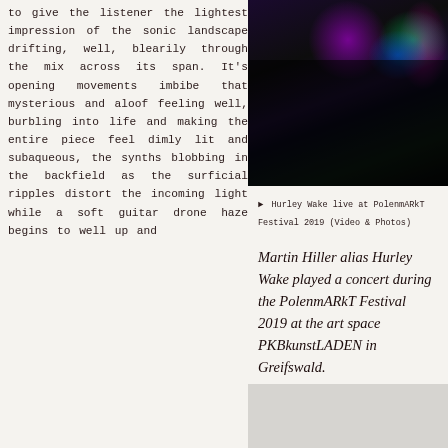to give the listener the lightest impression of the sonic landscape drifting, well, blearily through the mix across its span. It's opening movements imbibe that mysterious and aloof feeling well, burbling into life and making the entire piece feel dimly lit and subaqueous, the synths blobbing in the backfield as the surficial ripples distort the incoming light while a soft guitar drone haze begins to well up and
[Figure (photo): Dark concert photo with purple, green, blue, and pink stage lighting at PolenmARkT Festival 2019]
► Hurley Wake live at PolenmARkT Festival 2019 (Video & Photos)
Martin Hiller alias Hurley Wake played a concert during the PolenmARkT Festival 2019 at the art space PKBkunstLADEN in Greifswald.
[Figure (photo): Gray placeholder block]